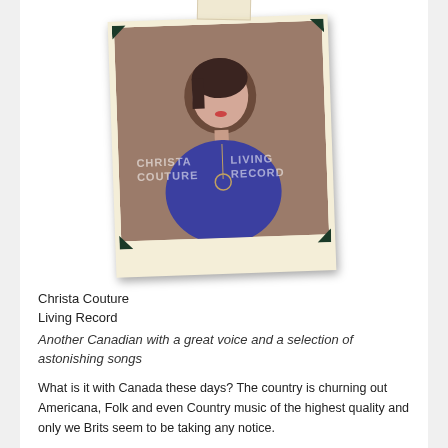[Figure (photo): Polaroid-style album cover photo of Christa Couture wearing a blue dress, with text 'CHRISTA COUTURE LIVING RECORD' overlaid on a brown/taupe background. The photo is mounted in a white polaroid frame with dark green corner mounts and a tape piece at the top, slightly rotated.]
Christa Couture
Living Record
Another Canadian with a great voice and a selection of astonishing songs
What is it with Canada these days? The country is churning out Americana, Folk and even Country music of the highest quality and only we Brits seem to be taking any notice.